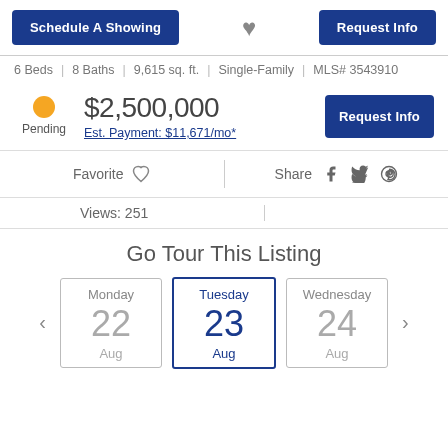Schedule A Showing
Request Info
6 Beds | 8 Baths | 9,615 sq. ft. | Single-Family | MLS# 3543910
Pending
$2,500,000
Est. Payment: $11,671/mo*
Request Info
Favorite
Share
Views: 251
Go Tour This Listing
Monday 22 Aug
Tuesday 23 Aug
Wednesday 24 Aug